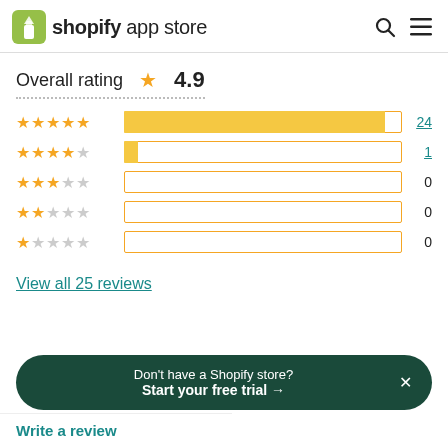shopify app store
Overall rating ★ 4.9
[Figure (bar-chart): Rating distribution]
View all 25 reviews
Don't have a Shopify store? Start your free trial →
Write a review